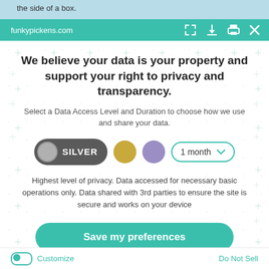the side of a box.
funkypickens.com
We believe your data is your property and support your right to privacy and transparency.
Select a Data Access Level and Duration to choose how we use and share your data.
[Figure (infographic): Privacy level selector showing SILVER option selected (dark pill button with gray circle and white SILVER text), gold circle, purple circle, and a dropdown showing '1 month']
Highest level of privacy. Data accessed for necessary basic operations only. Data shared with 3rd parties to ensure the site is secure and works on your device
Save my preferences
Customize  Do Not Sell